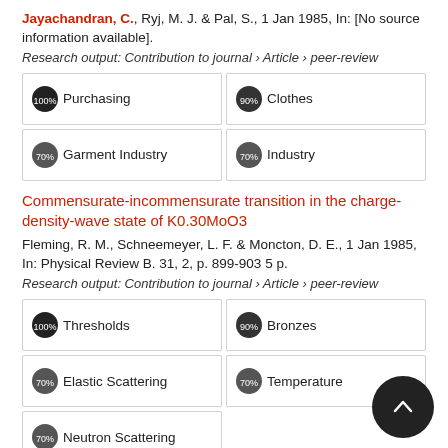Jayachandran, C., Ryj, M. J. & Pal, S., 1 Jan 1985, In: [No source information available].
Research output: Contribution to journal › Article › peer-review
100% Purchasing
90% Clothes
70% Garment Industry
70% Industry
Commensurate-incommensurate transition in the charge-density-wave state of K0.30MoO3
Fleming, R. M., Schneemeyer, L. F. & Moncton, D. E., 1 Jan 1985, In: Physical Review B. 31, 2, p. 899-903 5 p.
Research output: Contribution to journal › Article › peer-review
100% Thresholds
90% Bronzes
70% Elastic Scattering
70% Temperature
70% Neutron Scattering
Development of Botulinal Toxin and Sensory